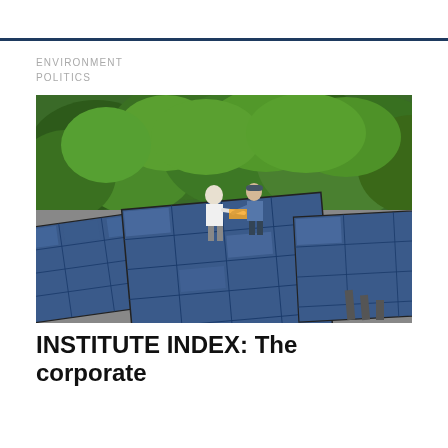ENVIRONMENT
POLITICS
[Figure (photo): Two workers installing solar panels on a rooftop, surrounded by green trees in the background. Large blue photovoltaic panels are arranged on a grey flat roof.]
INSTITUTE INDEX: The corporate